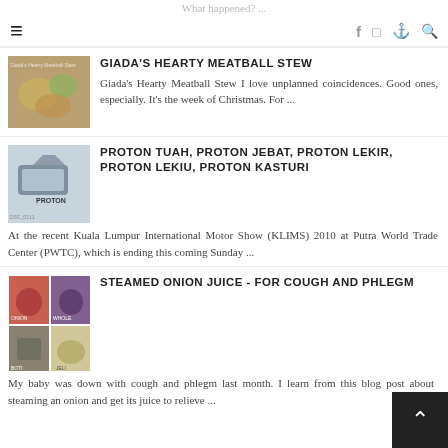What happened? ...
≡   f  📷  P  🔍
GIADA'S HEARTY MEATBALL STEW
Giada's Hearty Meatball Stew I love unplanned coincidences. Good ones, especially. It's the week of Christmas. For ...
PROTON TUAH, PROTON JEBAT, PROTON LEKIR, PROTON LEKIU, PROTON KASTURI
At the recent Kuala Lumpur International Motor Show (KLIMS) 2010 at Putra World Trade Center (PWTC), which is ending this coming Sunday ...
STEAMED ONION JUICE - FOR COUGH AND PHLEGM
My baby was down with cough and phlegm last month. I learn from this blog post about steaming an onion and get its juice to relieve ...